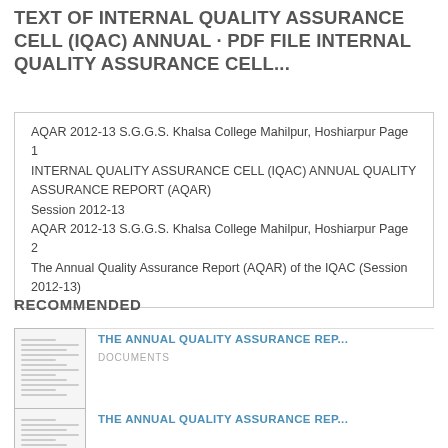TEXT OF INTERNAL QUALITY ASSURANCE CELL (IQAC) ANNUAL · PDF FILE INTERNAL QUALITY ASSURANCE CELL...
AQAR 2012-13 S.G.G.S. Khalsa College Mahilpur, Hoshiarpur Page 1 INTERNAL QUALITY ASSURANCE CELL (IQAC) ANNUAL QUALITY ASSURANCE REPORT (AQAR) Session 2012-13 AQAR 2012-13 S.G.G.S. Khalsa College Mahilpur, Hoshiarpur Page 2 The Annual Quality Assurance Report (AQAR) of the IQAC (Session 2012-13)
RECOMMENDED
[Figure (screenshot): Thumbnail of a document page with text lines]
THE ANNUAL QUALITY ASSURANCE REP...
DOCUMENTS
[Figure (screenshot): Thumbnail of a document page with text lines]
THE ANNUAL QUALITY ASSURANCE REP...